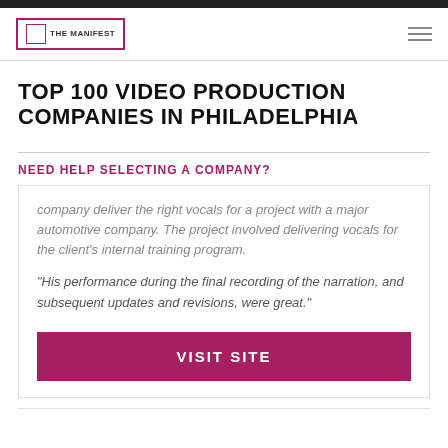THE MANIFEST
TOP 100 VIDEO PRODUCTION COMPANIES IN PHILADELPHIA
NEED HELP SELECTING A COMPANY?
company deliver the right vocals for a project with a major automotive company. The project involved delivering vocals for the client's internal training program.
"His performance during the final recording of the narration, and subsequent updates and revisions, were great."
VISIT SITE